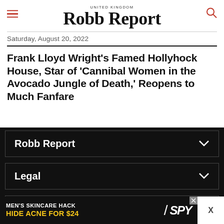UNITED KINGDOM Robb Report
Saturday, August 20, 2022
Frank Lloyd Wright's Famed Hollyhock House, Star of 'Cannibal Women in the Avocado Jungle of Death,' Reopens to Much Fanfare
Robb Report
Legal
Connect
MEN'S SKINCARE HACK HIDE ACNE FOR $24 SPY